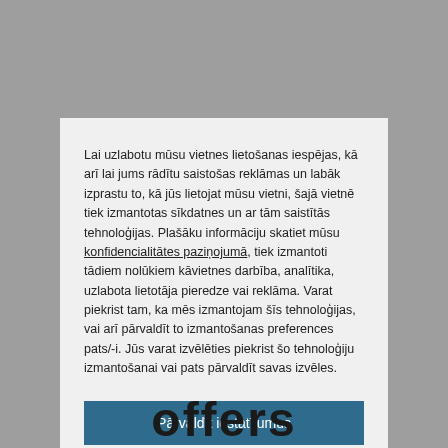Lai uzlabotu mūsu vietnes lietošanas iespējas, kā arī lai jums rādītu saistošas reklāmas un labāk izprastu to, kā jūs lietojat mūsu vietni, šajā vietnē tiek izmantotas sīkdatnes un ar tām saistītās tehnoloģijas. Plašāku informāciju skatiet mūsu konfidencialitātes paziņojumā, tiek izmantoti tādiem nolūkiem kāvietnes darbība, analītika, uzlabota lietotāja pieredze vai reklāma. Varat piekrist tam, ka mēs izmantojam šīs tehnoloģijas, vai arī pārvaldīt to izmantošanas preferences pats/-i. Jūs varat izvēlēties piekrist šo tehnoloģiju izmantošanai vai pats pārvaldīt savas izvēles.
Pārvaldīt iestatījumus
Pieņemt visu
Noraidīt visu
Paziņojums par sīkdatni
offers